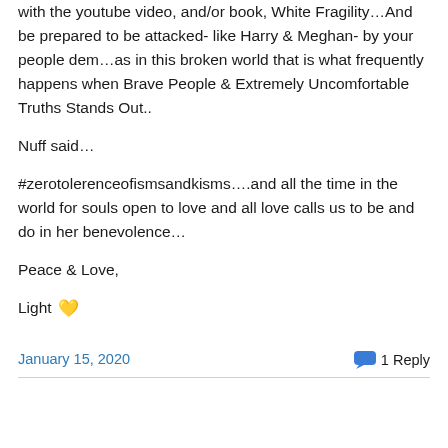with the youtube video, and/or book, White Fragility…And be prepared to be attacked- like Harry & Meghan- by your people dem…as in this broken world that is what frequently happens when Brave People & Extremely Uncomfortable Truths Stands Out..
Nuff said…
#zerotolerenceofismsandkisms….and all the time in the world for souls open to love and all love calls us to be and do in her benevolence…
Peace & Love,
Light 💛
January 15, 2020
1 Reply